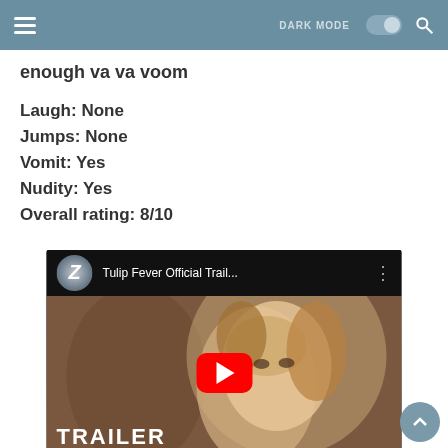DARK MODE [toggle] [search]
enough va va voom
Laugh: None
Jumps: None
Vomit: Yes
Nudity: Yes
Overall rating: 8/10
[Figure (screenshot): YouTube video embed thumbnail showing 'Tulip Fever Official Trail...' with a woman's face and a TRAILER text overlay and red play button]